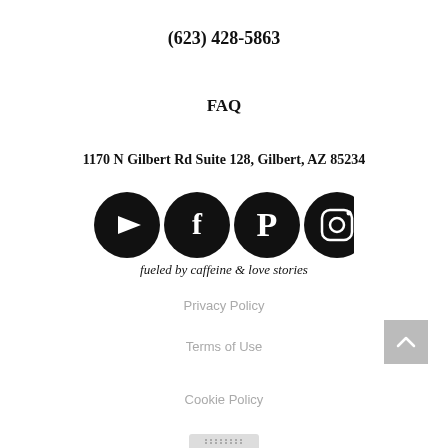(623) 428-5863
FAQ
1170 N Gilbert Rd Suite 128, Gilbert, AZ 85234
[Figure (illustration): Four circular black social media icons: YouTube, Facebook, Pinterest, Instagram]
fueled by caffeine & love stories
Privacy Policy
Terms of Use
Cookie Policy